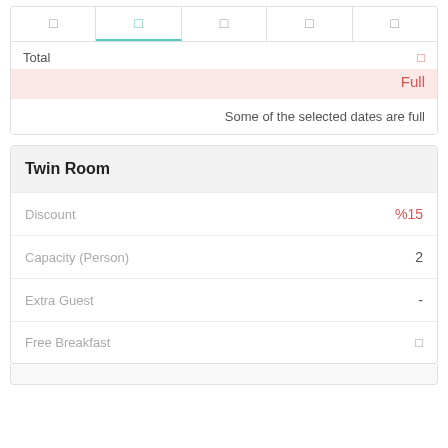|  |  |  |  |  |
| --- | --- | --- | --- | --- |
| □ | □ | □ | □ | □ |
Total
Full
Some of the selected dates are full
Twin Room
Discount  %15
Capacity (Person)  2
Extra Guest  -
Free Breakfast  □